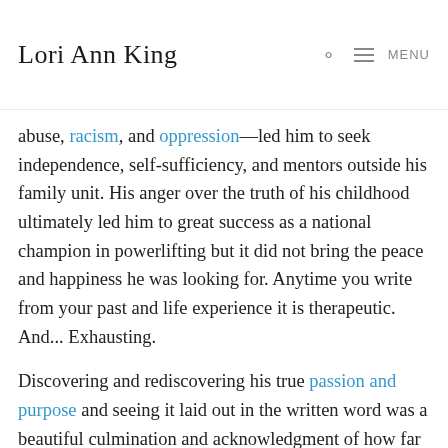Lori Ann King   MENU
abuse, racism, and oppression—led him to seek independence, self-sufficiency, and mentors outside his family unit. His anger over the truth of his childhood ultimately led him to great success as a national champion in powerlifting but it did not bring the peace and happiness he was looking for. Anytime you write from your past and life experience it is therapeutic. And... Exhausting.
Discovering and rediscovering his true passion and purpose and seeing it laid out in the written word was a beautiful culmination and acknowledgment of how far he's come, where he wants to go, and who he wants to be.
As we weaved in aspects of my past we found overlaps and universal truths where we could help and